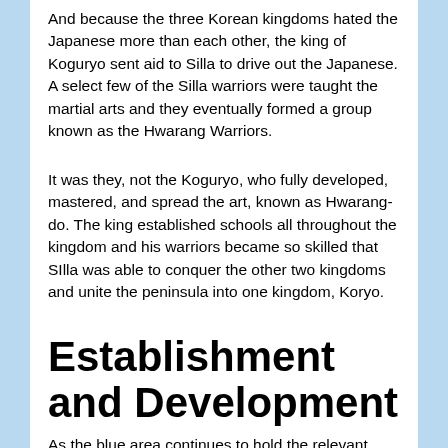And because the three Korean kingdoms hated the Japanese more than each other, the king of Koguryo sent aid to Silla to drive out the Japanese. A select few of the Silla warriors were taught the martial arts and they eventually formed a group known as the Hwarang Warriors.
It was they, not the Koguryo, who fully developed, mastered, and spread the art, known as Hwarang-do. The king established schools all throughout the kingdom and his warriors became so skilled that SIlla was able to conquer the other two kingdoms and unite the peninsula into one kingdom, Koryo.
Establishment and Development
As the blue area continues to hold the relevant...